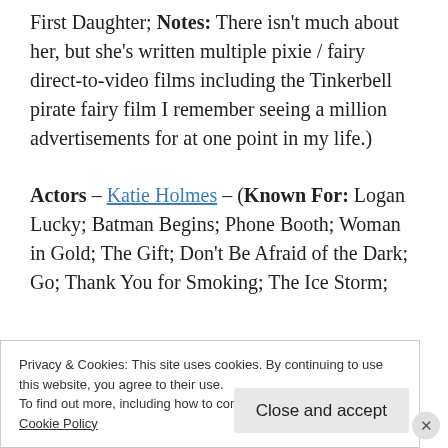First Daughter; Notes: There isn't much about her, but she's written multiple pixie / fairy direct-to-video films including the Tinkerbell pirate fairy film I remember seeing a million advertisements for at one point in my life.)
Actors – Katie Holmes – (Known For: Logan Lucky; Batman Begins; Phone Booth; Woman in Gold; The Gift; Don't Be Afraid of the Dark; Go; Thank You for Smoking; The Ice Storm; Wonder Boys; The Unbreakable; Pieces of April
Privacy & Cookies: This site uses cookies. By continuing to use this website, you agree to their use.
To find out more, including how to control cookies, see here:
Cookie Policy